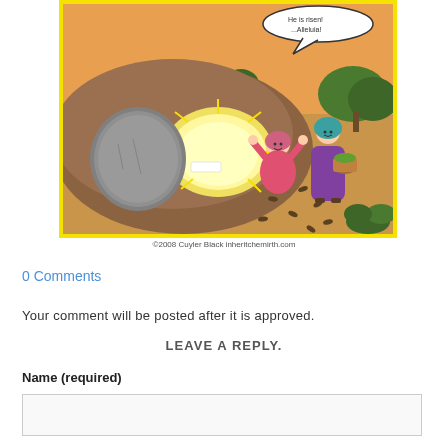[Figure (illustration): Cartoon comic strip showing an empty tomb with a large round stone rolled away. Two women stand outside the glowing tomb entrance. One woman kneels with arms raised joyfully, wearing a pink robe. The other stands holding a basket, wearing a purple robe and teal head covering. Sunflower seeds appear scattered on the ground. Orange sky and green trees in the background. Yellow border around the image.]
©2008 Cuyler Black inheritchemirth.com
0 Comments
Your comment will be posted after it is approved.
LEAVE A REPLY.
Name (required)